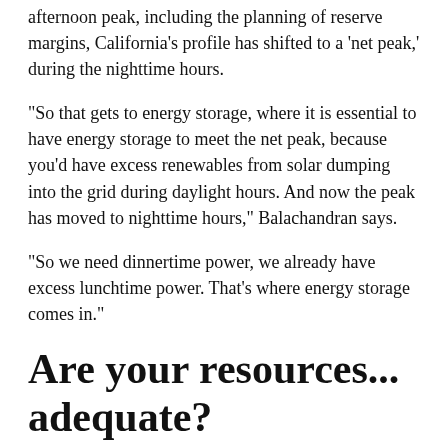afternoon peak, including the planning of reserve margins, California's profile has shifted to a 'net peak,' during the nighttime hours.
“So that gets to energy storage, where it is essential to have energy storage to meet the net peak, because you’d have excess renewables from solar dumping into the grid during daylight hours. And now the peak has moved to nighttime hours,” Balachandran says.
“So we need dinnertime power, we already have excess lunchtime power. That’s where energy storage comes in.”
Are your resources... adequate?
CPUC has mandated that all load-serving entities procure a certain amount of energy storage, from four and five-hour duration storage to longer durations. This includes California’s Resource Adequacy contracting, which means